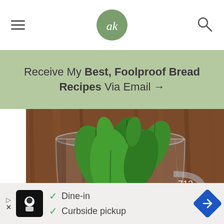ak (logo) — navigation header with hamburger menu and search icon
Receive My Best, Foolproof Bread Recipes Via Email →
[Figure (photo): A glass measuring cup filled with fresh green mint leaves on a wooden table surface. Overlaid UI shows a heart/save button with count 713 and a search button.]
Dine-in
Curbside pickup